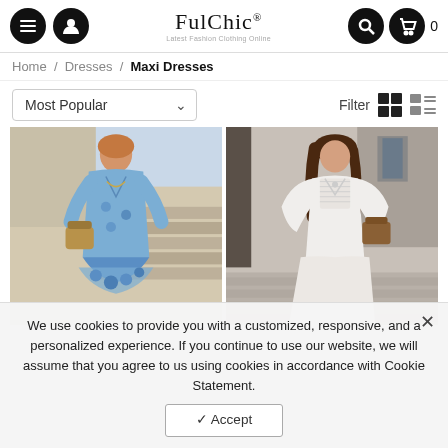FulChic - Latest Fashion Clothing Online
Home / Dresses / Maxi Dresses
Most Popular | Filter
[Figure (photo): Woman wearing a light blue boho maxi dress with floral lace hem, holding a wicker basket bag, standing outdoors near steps]
[Figure (photo): Woman wearing a white long-sleeve maxi dress with lace detail bodice, holding a brown bag, standing on a cobblestone street]
We use cookies to provide you with a customized, responsive, and a personalized experience. If you continue to use our website, we will assume that you agree to us using cookies in accordance with Cookie Statement.
✓ Accept